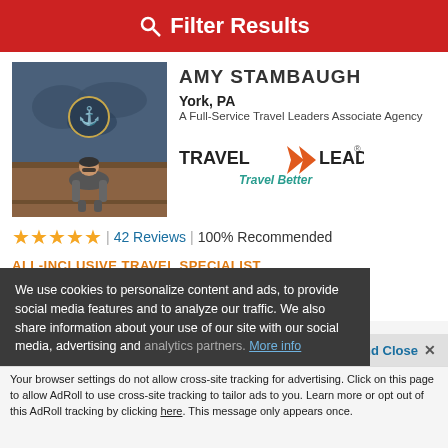Filter Results
[Figure (photo): Photo of Amy Stambaugh sitting in front of a decorative world map display on a cruise ship]
AMY STAMBAUGH
York, PA
A Full-Service Travel Leaders Associate Agency
[Figure (logo): Travel Leaders logo with orange arrow and 'Travel Better' tagline in teal]
★★★★★ | 42 Reviews | 100% Recommended
ALL-INCLUSIVE TRAVEL SPECIALIST
DESTINATION SPECIALTIES
Caribbean, Mexico, Bahamas
We use cookies to personalize content and ads, to provide social media features and to analyze our traffic. We also share information about your use of our site with our social media, advertising and analytics partners. More info
Accept and Close ✕
Your browser settings do not allow cross-site tracking for advertising. Click on this page to allow AdRoll to use cross-site tracking to tailor ads to you. Learn more or opt out of this AdRoll tracking by clicking here. This message only appears once.